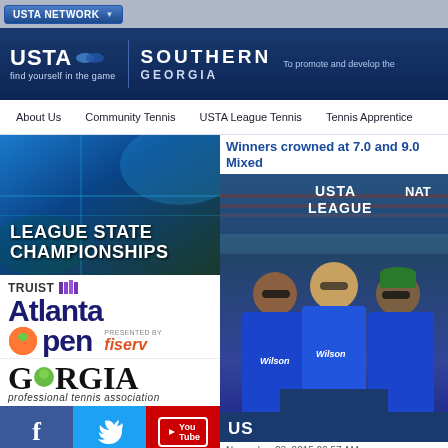USTA NETWORK
[Figure (logo): USTA Southern Georgia logo with tagline 'find yourself in the game' and text 'To promote and develop the']
About Us   Community Tennis   USTA League Tennis   Tennis Apprentice
[Figure (photo): League State Championships tennis banner image]
[Figure (logo): Truist Atlanta Open presented by Fiserv logo]
[Figure (logo): Georgia Professional Tennis Association logo]
[Figure (infographic): Social media icons: Facebook, Twitter, YouTube]
USTA Georgia
116 Marble Mill Road
Winners crowned at 7.0 and 9.0 Mixed
[Figure (photo): Three people in blue Wilson jackets posing in front of USTA League Nationals backdrop]
November 23, 2015 09:57 AM